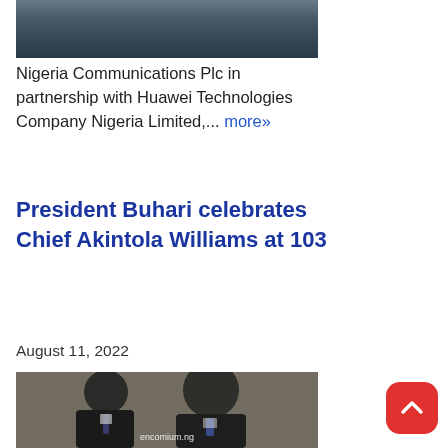[Figure (photo): Cropped bottom of a group photo showing legs and feet of several people standing outdoors]
Nigeria Communications Plc in partnership with Huawei Technologies Company Nigeria Limited,... more»
President Buhari celebrates Chief Akintola Williams at 103
August 11, 2022
[Figure (photo): Two elderly African men in dark suits seated side by side; watermark reads encomium.ng]
[Figure (other): Red rounded square scroll-to-top button with white chevron/arrow icon]